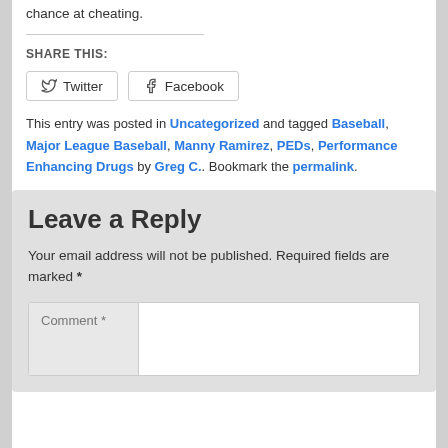chance at cheating.
SHARE THIS:
Twitter  Facebook
This entry was posted in Uncategorized and tagged Baseball, Major League Baseball, Manny Ramirez, PEDs, Performance Enhancing Drugs by Greg C.. Bookmark the permalink.
Leave a Reply
Your email address will not be published. Required fields are marked *
Comment *